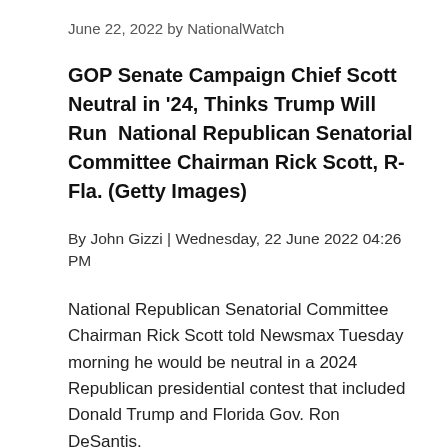June 22, 2022 by NationalWatch
GOP Senate Campaign Chief Scott Neutral in '24, Thinks Trump Will Run  National Republican Senatorial Committee Chairman Rick Scott, R-Fla. (Getty Images)
By John Gizzi | Wednesday, 22 June 2022 04:26 PM
National Republican Senatorial Committee Chairman Rick Scott told Newsmax Tuesday morning he would be neutral in a 2024 Republican presidential contest that included Donald Trump and Florida Gov. Ron DeSantis.
"The voters are going to decide," he said.